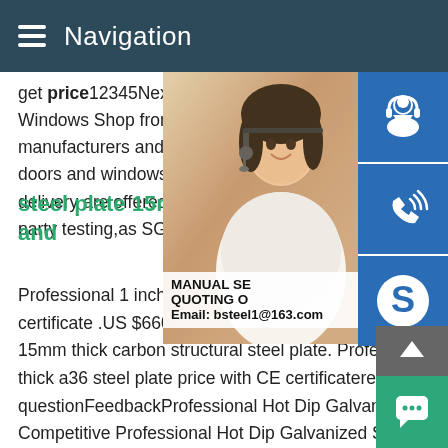Navigation
get price12345NextGI Rectangular Pipe S Windows Shop from professional Pre-galv manufacturers and suppliers for quality gi doors and windows made in China here.Th delivery are offered. CE,LR,Philippine cert party testing,as SGS,BV,ect.
steel plate 15mm,steel plate 1 and
Professional 1 inch cost 10 gauge prices 1 certificate .US $660.00-$670.00 sn490 steel plate s557 astm a151 15mm thick carbon structural steel plate. Professional 4mm 15mm thick a36 steel plate price with CE certificateresults for this questionFeedbackProfessional Hot Dip Galvanized Square Pi Competitive Professional Hot Dip Galvanized Square Pipe Of Competitive Prices Inventory With Ce Certificate ,Find Comple
[Figure (photo): Woman with headset, customer service representative]
MANUAL SE QUOTING O Email: bsteel1@163.com